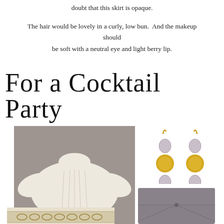doubt that this skirt is opaque.
The hair would be lovely in a curly, low bun.  And the makeup should be soft with a neutral eye and light berry lip.
For a Cocktail Party
[Figure (photo): Cream cable-knit sweater on grey background]
[Figure (photo): Gold drop earrings with oval gemstones]
[Figure (photo): Grey suede clutch bag]
[Figure (photo): Partial view of bracelet or accessory at bottom of page]